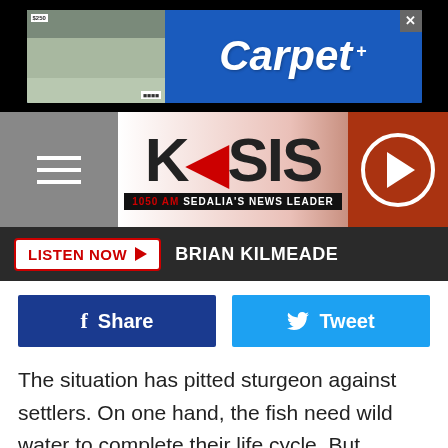[Figure (screenshot): Advertisement banner for Carpet company with blue background and building image]
[Figure (logo): KSIS 1050 AM Sedalia's News Leader radio station logo with navigation header]
LISTEN NOW  BRIAN KILMEADE
[Figure (infographic): Social share buttons: Facebook Share and Tweet]
The situation has pitted sturgeon against settlers. On one hand, the fish need wild water to complete their life cycle. But persistent flooding has required human intervention to tame the river.